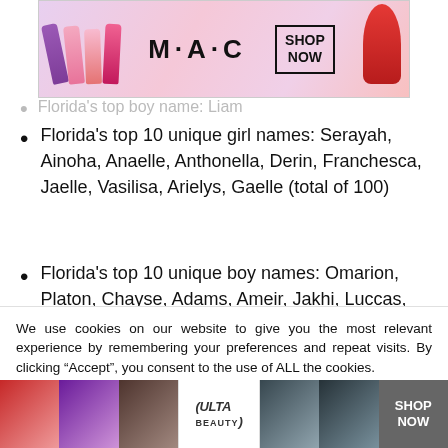[Figure (photo): MAC cosmetics advertisement banner with colorful lipsticks on left, MAC logo in center, SHOP NOW box, and red lipstick on right]
Florida's top boy name: Liam (faded/obscured by ad)
Florida's top 10 unique girl names: Serayah, Ainoha, Anaelle, Anthonella, Derin, Franchesca, Jaelle, Vasilisa, Arielys, Gaelle (total of 100)
Florida's top 10 unique boy names: Omarion, Platon, Chayse, Adams, Ameir, Jakhi, Luccas, Mako, Chauncey, Enrico (total of 98)
We use cookies on our website to give you the most relevant experience by remembering your preferences and repeat visits. By clicking “Accept”, you consent to the use of ALL the cookies.
Do not sell my personal information.
[Figure (photo): ULTA beauty advertisement banner at bottom with makeup model faces and SHOP NOW text]